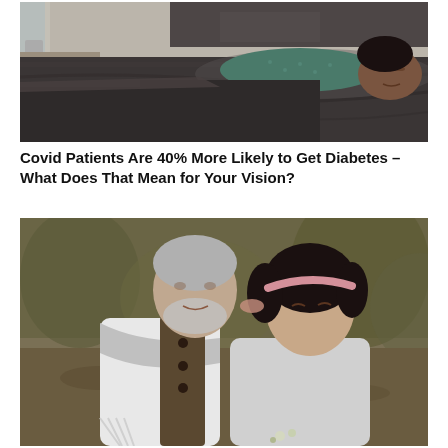[Figure (photo): Elderly person sleeping in bed, covered with dark gray blanket, wearing teal/green dotted shirt, lying on their side on a bed with gray bedding. Room has wooden furniture in background.]
Covid Patients Are 40% More Likely to Get Diabetes – What Does That Mean for Your Vision?
[Figure (photo): Middle-aged couple sitting outdoors. Man with gray hair and beard wearing a white knit sweater with gray scarf, kissing the forehead/temple of a woman with curly dark hair wearing a pink headband and gray sweater. They appear to be sitting in a garden or park setting.]